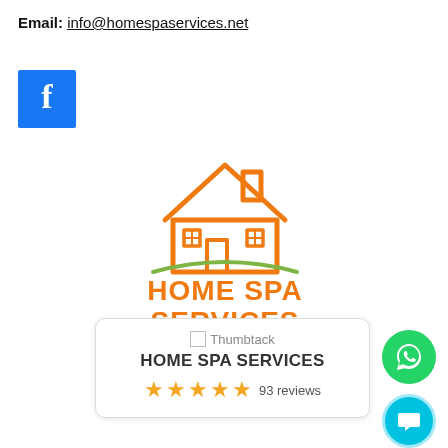Email: info@homespaservices.net
[Figure (logo): Facebook logo icon — blue square with white 'f']
[Figure (logo): Home Spa Services logo — orange hand-drawn house outline with green grass arc and orange bold text 'HOME SPA SERVICES']
[Figure (screenshot): Thumbtack review card showing 'HOME SPA SERVICES' with 5 gold stars and '93 reviews']
[Figure (logo): WhatsApp button — green circle with white phone/chat icon]
[Figure (logo): Chat button — cyan circle with white chat bubble icon]